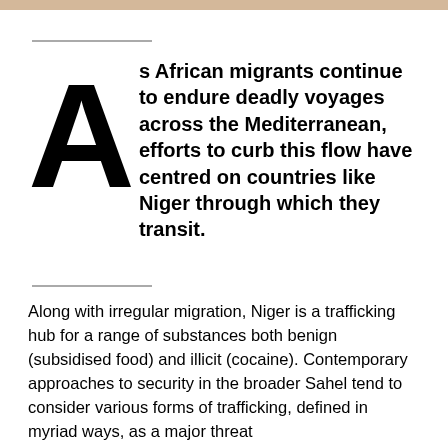[Figure (photo): Partial image visible at the very top of the page, appearing to show an outdoor scene with warm tones.]
As African migrants continue to endure deadly voyages across the Mediterranean, efforts to curb this flow have centred on countries like Niger through which they transit.
Along with irregular migration, Niger is a trafficking hub for a range of substances both benign (subsidised food) and illicit (cocaine). Contemporary approaches to security in the broader Sahel tend to consider various forms of trafficking, defined in myriad ways, as a major threat